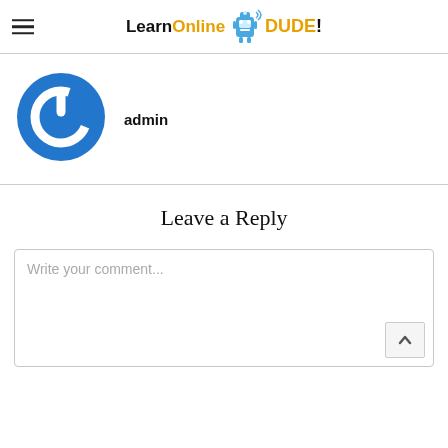LearnOnlineDUDE! [logo with icon]
admin
[Figure (logo): Blue circular power button icon used as admin avatar]
Leave a Reply
Write your comment...